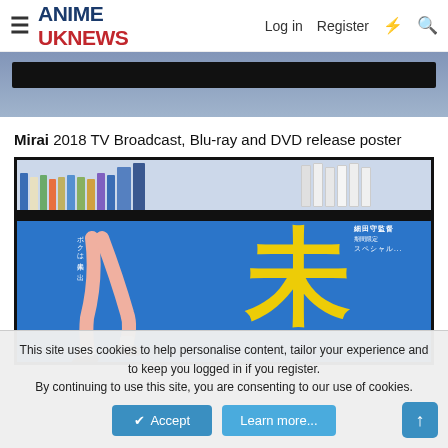ANIME UK NEWS — Log in  Register
[Figure (photo): Partial view of a dark TV bezel against a blue-gray carpet]
Mirai 2018 TV Broadcast, Blu-ray and DVD release poster
[Figure (photo): Photo of a TV screen showing the Mirai Blu-ray special edition poster with Japanese text and a large yellow kanji character on a blue background, with anime merchandise shelves visible above]
This site uses cookies to help personalise content, tailor your experience and to keep you logged in if you register.
By continuing to use this site, you are consenting to our use of cookies.